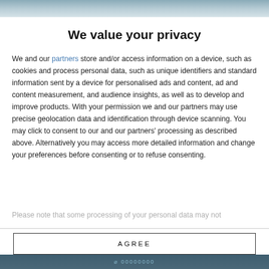[Figure (photo): Background image at top of modal, blurred blue-grey tones]
We value your privacy
We and our partners store and/or access information on a device, such as cookies and process personal data, such as unique identifiers and standard information sent by a device for personalised ads and content, ad and content measurement, and audience insights, as well as to develop and improve products. With your permission we and our partners may use precise geolocation data and identification through device scanning. You may click to consent to our and our partners' processing as described above. Alternatively you may access more detailed information and change your preferences before consenting or to refuse consenting.
Please note that some processing of your personal data may not
AGREE
MORE OPTIONS
[Figure (photo): Background image at bottom, dark blue-grey tones with faint logo/text]